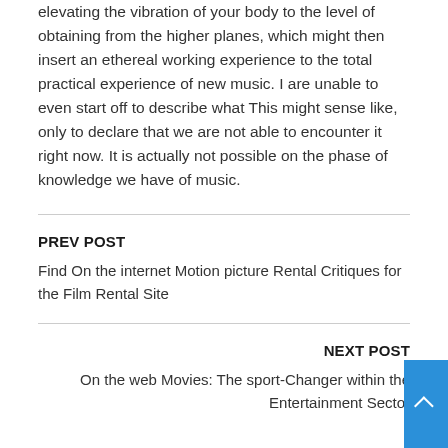elevating the vibration of your body to the level of obtaining from the higher planes, which might then insert an ethereal working experience to the total practical experience of new music. I are unable to even start off to describe what This might sense like, only to declare that we are not able to encounter it right now. It is actually not possible on the phase of knowledge we have of music.
PREV POST
Find On the internet Motion picture Rental Critiques for the Film Rental Site
NEXT POST
On the web Movies: The sport-Changer within the Entertainment Sector